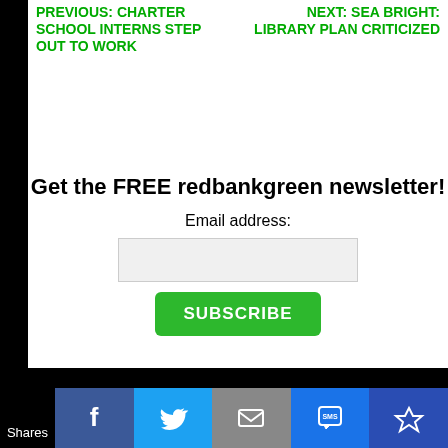PREVIOUS: CHARTER SCHOOL INTERNS STEP OUT TO WORK
NEXT: SEA BRIGHT: LIBRARY PLAN CRITICIZED
Get the FREE redbankgreen newsletter!
Email address:
SUBSCRIBE
Shares | Facebook | Twitter | Email | SMS | King